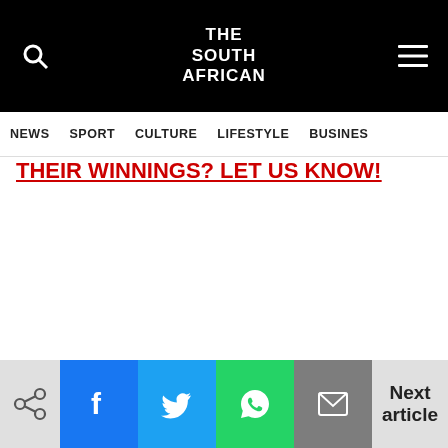THE SOUTH AFRICAN
NEWS  SPORT  CULTURE  LIFESTYLE  BUSINES
THEIR WINNINGS? LET US KNOW!
Next article